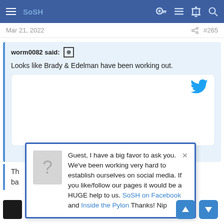SoSH — navigation bar with hamburger, brand, key, list, alert, and search icons
Mar 21, 2022  #265
worm0082 said: ⊕
Looks like Brady & Edelman have been working out.
[Twitter embed — Click to expand...]
Th...busting Jules
ba...
Guest, I have a big favor to ask you. We've been working very hard to establish ourselves on social media. If you like/follow our pages it would be a HUGE help to us. SoSH on Facebook and Inside the Pylon Thanks! Nip